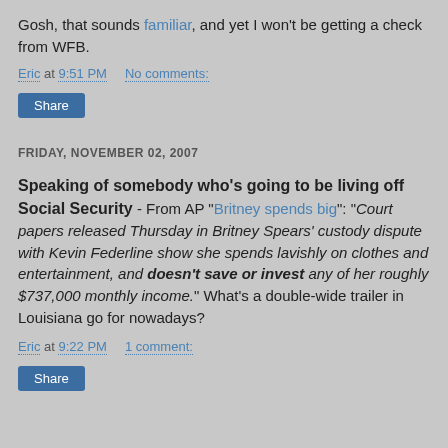Gosh, that sounds familiar, and yet I won't be getting a check from WFB.
Eric at 9:51 PM    No comments:
Share
FRIDAY, NOVEMBER 02, 2007
Speaking of somebody who's going to be living off Social Security - From AP "Britney spends big": "Court papers released Thursday in Britney Spears' custody dispute with Kevin Federline show she spends lavishly on clothes and entertainment, and doesn't save or invest any of her roughly $737,000 monthly income." What's a double-wide trailer in Louisiana go for nowadays?
Eric at 9:22 PM    1 comment:
Share